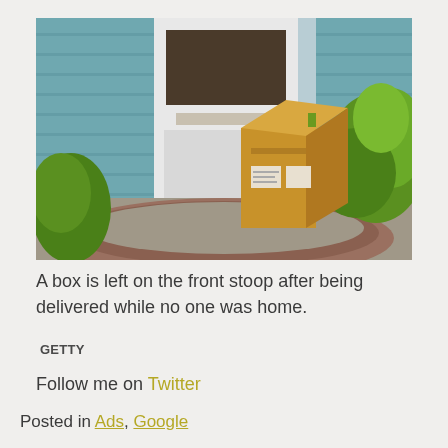[Figure (photo): A cardboard delivery box sitting upright on a semicircular brick front stoop in front of a white door with blue siding and green shrubs on the right.]
A box is left on the front stoop after being delivered while no one was home.
GETTY
Follow me on Twitter
Posted in Ads, Google